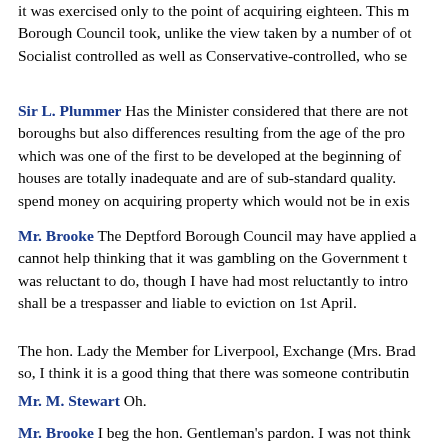it was exercised only to the point of acquiring eighteen. This m Borough Council took, unlike the view taken by a number of ot Socialist controlled as well as Conservative-controlled, who se
Sir L. Plummer Has the Minister considered that there are not boroughs but also differences resulting from the age of the pro which was one of the first to be developed at the beginning of houses are totally inadequate and are of sub-standard quality. spend money on acquiring property which would not be in exis
Mr. Brooke The Deptford Borough Council may have applied a cannot help thinking that it was gambling on the Government t was reluctant to do, though I have had most reluctantly to intro shall be a trespasser and liable to eviction on 1st April.
The hon. Lady the Member for Liverpool, Exchange (Mrs. Brad so, I think it is a good thing that there was someone contributin
Mr. M. Stewart Oh.
Mr. Brooke I beg the hon. Gentleman's pardon. I was not think